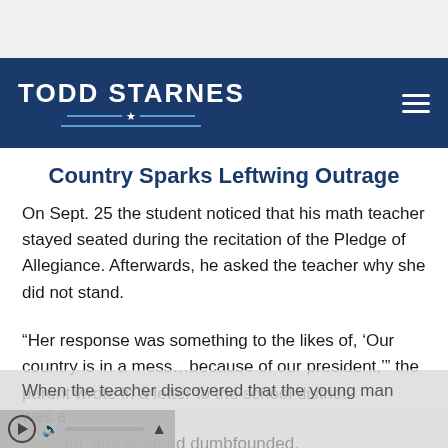TODD STARNES
Country Sparks Leftwing Outrage
On Sept. 25 the student noticed that his math teacher stayed seated during the recitation of the Pledge of Allegiance. Afterwards, he asked the teacher why she did not stand.
“Her response was something to the likes of, ‘Our country is in a mess…because of our president,’” the parent wrote in a letter to the school district.
When the teacher discovered that the young man was a [repor]ter, she seemed dumbfounded.